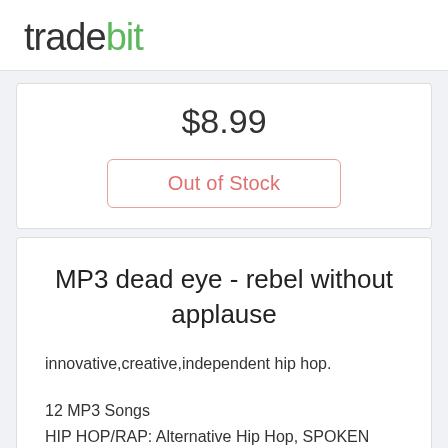tradebit
$8.99
Out of Stock
MP3 dead eye - rebel without applause
innovative,creative,independent hip hop.
12 MP3 Songs
HIP HOP/RAP: Alternative Hip Hop, SPOKEN WORD: With Music